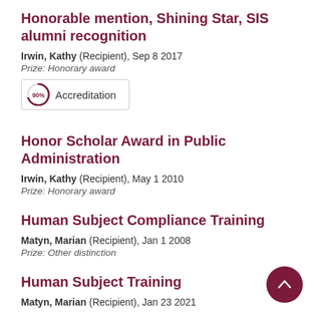Honorable mention, Shining Star, SIS alumni recognition
Irwin, Kathy (Recipient), Sep 8 2017
Prize: Honorary award
[Figure (other): Accreditation badge icon with 90% graphic and label 'Accreditation']
Honor Scholar Award in Public Administration
Irwin, Kathy (Recipient), May 1 2010
Prize: Honorary award
Human Subject Compliance Training
Matyn, Marian (Recipient), Jan 1 2008
Prize: Other distinction
Human Subject Training
Matyn, Marian (Recipient), Jan 23 2021